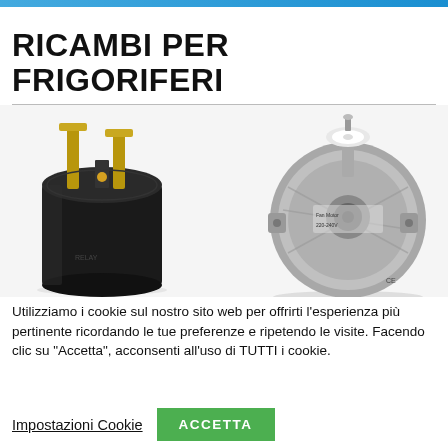RICAMBI PER FRIGORIFERI
[Figure (photo): Two refrigerator spare parts: left is a black cylindrical compressor relay/PTC starter with gold/metal terminals on top; right is a silver fan motor with a white pulley/shaft on top and mounting screws, showing the circular motor body.]
Utilizziamo i cookie sul nostro sito web per offrirti l'esperienza più pertinente ricordando le tue preferenze e ripetendo le visite. Facendo clic su "Accetta", acconsenti all'uso di TUTTI i cookie.
Impostazioni Cookie   ACCETTA